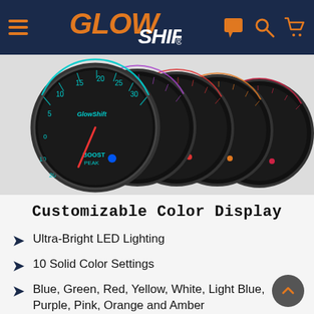GlowShift navigation bar with hamburger menu, logo, chat, search, and cart icons
[Figure (photo): Five GlowShift boost gauges displayed side by side, each illuminated in a different color: teal/blue, purple, red/orange, orange, and pink/red. Each gauge shows boost readings labeled BOOST PEAK with a needle pointer.]
Customizable Color Display
Ultra-Bright LED Lighting
10 Solid Color Settings
Blue, Green, Red, Yellow, White, Light Blue, Purple, Pink, Orange and Amber
Color Cycle & Color Fade Modes